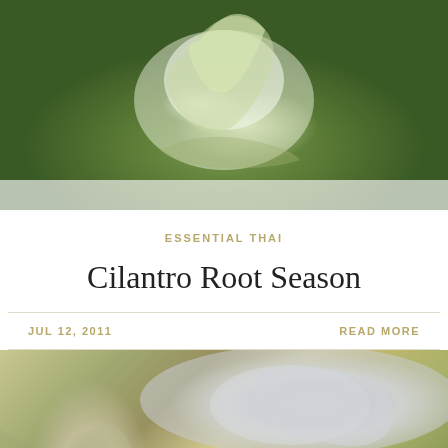[Figure (photo): Close-up photograph of fresh cilantro roots and stems with green leaves on a white surface]
ESSENTIAL THAI
Cilantro Root Season
JUL 12, 2011
READ MORE
[Figure (photo): Close-up photograph of a spoon and fork with soup or broth in a bowl, warm golden tones]